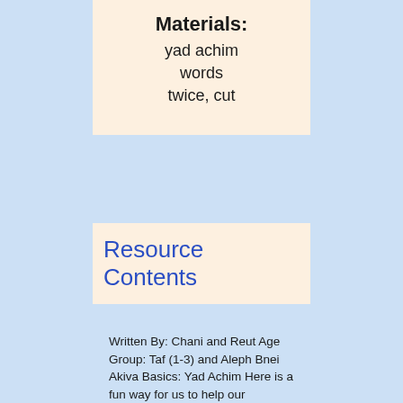Materials: yad achim words twice, cut
Resource Contents
Written By: Chani and Reut Age Group: Taf (1-3) and Aleph Bnei Akiva Basics: Yad Achim Here is a fun way for us to help our chanichim/ot to think about (and maybe even learn) the words of Yad Achim. It was written by Rabbi Moshe Tzvi Neriah, during sukkot, 1932. For quick reference, here